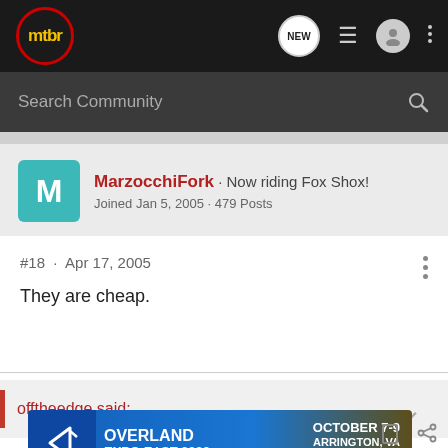mtbr
Search Community
MarzocchiFork · Now riding Fox Shox!
Joined Jan 5, 2005 · 479 Posts
#18 · Apr 17, 2005
They are cheap.
offtheedge said:
[Figure (photo): Overland Expo East 2022 advertisement banner: October 7-9, Arrington, VA. Plan Your Adventure.]